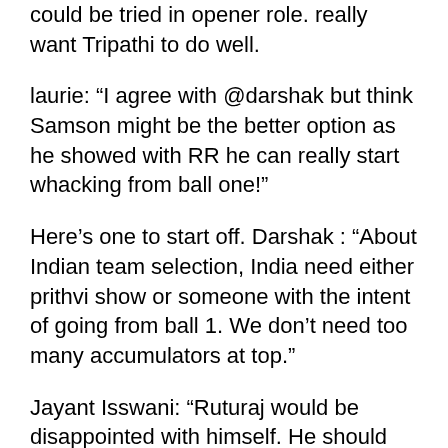could be tried in opener role. really want Tripathi to do well.
laurie: “I agree with @darshak but think Samson might be the better option as he showed with RR he can really start whacking from ball one!”
Here’s one to start off. Darshak : “About Indian team selection, India need either prithvi show or someone with the intent of going from ball 1. We don’t need too many accumulators at top.”
Jayant Isswani: “Ruturaj would be disappointed with himself. He should have known that a rain interruption is around the corner and he just needed to stay there!”